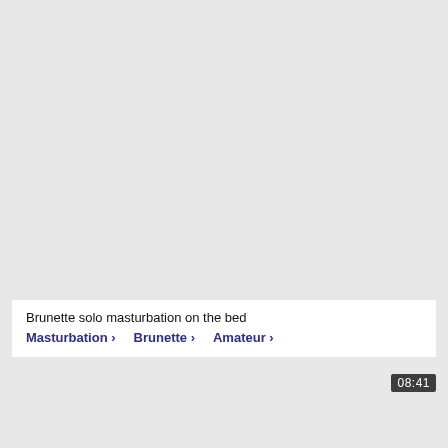[Figure (screenshot): Top video thumbnail area with light gray background]
Brunette solo masturbation on the bed
Masturbation >   Brunette >   Amateur >
[Figure (screenshot): Bottom video thumbnail area with light gray background and duration badge showing 08:41]